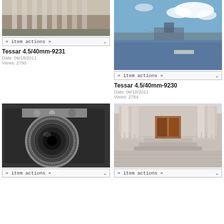[Figure (photo): Photograph of a neoclassical building facade with columns]
« item actions »
Tessar 4.5/40mm-9231
Date: 06/18/2011
Views: 2790
[Figure (photo): Photograph of a river panorama with bridge and city skyline under blue sky with clouds]
« item actions »
Tessar 4.5/40mm-9230
Date: 06/18/2011
Views: 2784
[Figure (photo): Close-up photograph of a vintage film camera with lens]
« item actions »
[Figure (photo): Photograph of a neoclassical building entrance with columns and steps]
« item actions »